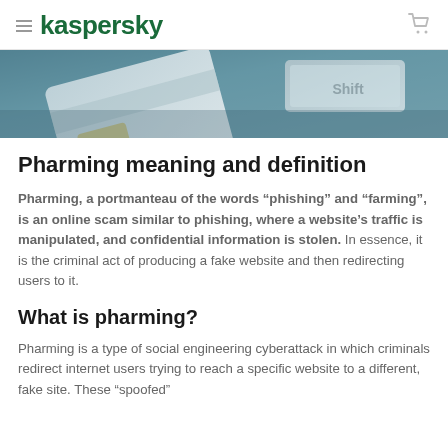kaspersky
[Figure (photo): Close-up photo of a credit card and keyboard keys with teal/blue toned lighting, suggesting online fraud or cybercrime theme]
Pharming meaning and definition
Pharming, a portmanteau of the words “phishing” and “farming”, is an online scam similar to phishing, where a website’s traffic is manipulated, and confidential information is stolen. In essence, it is the criminal act of producing a fake website and then redirecting users to it.
What is pharming?
Pharming is a type of social engineering cyberattack in which criminals redirect internet users trying to reach a specific website to a different, fake site. These “spoofed”